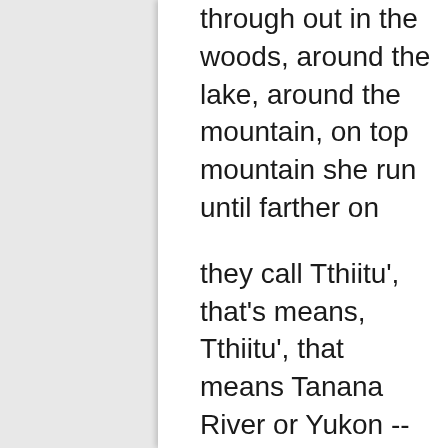through out in the woods, around the lake, around the mountain, on top mountain she run until farther on
they call Tthiitu', that's means, Tthiitu', that means Tanana River or Yukon -- Yukon River.
I don't know which one -- the far she run, but the good happen. She see some kind